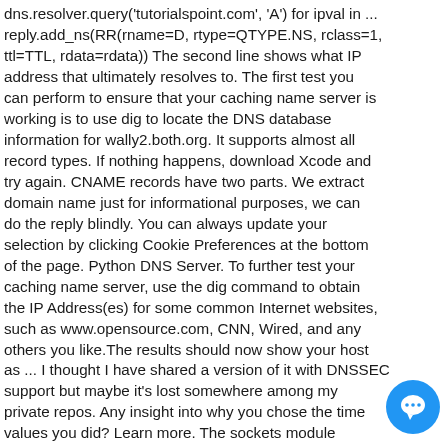dns.resolver.query('tutorialspoint.com', 'A') for ipval in ... reply.add_ns(RR(rname=D, rtype=QTYPE.NS, rclass=1, ttl=TTL, rdata=rdata)) The second line shows what IP address that ultimately resolves to. The first test you can perform to ensure that your caching name server is working is to use dig to locate the DNS database information for wally2.both.org. It supports almost all record types. If nothing happens, download Xcode and try again. CNAME records have two parts. We extract domain name just for informational purposes, we can do the reply blindly. You can always update your selection by clicking Cookie Preferences at the bottom of the page. Python DNS Server. To further test your caching name server, use the dig command to obtain the IP Address(es) for some common Internet websites, such as www.opensource.com, CNN, Wired, and any others you like.The results should now show your host as ... I thought I have shared a version of it with DNSSEC support but maybe it's lost somewhere among my private repos. Any insight into why you chose the time values you did? Learn more. The sockets module provides an easy way to look up a host name's ip address. The DNS server could be another virtual DNS server defined in the system or the IP address of an external DNS server reachable via the infrastructure. For more information, see our Privacy Statement. Awesome code snippet! We use essential cookies to perform essential website functions, e.g. AttributeError:
[Figure (other): Blue circular chat bubble icon in bottom-right corner]